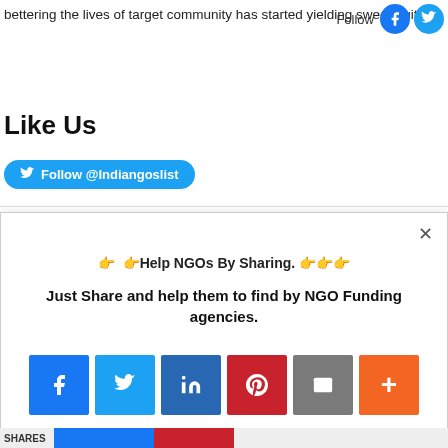bettering the lives of target community has started yielding sweet fruits
[Figure (other): Follow label with Facebook and Twitter social circle icons]
Like Us
[Figure (other): Twitter Follow @Indiangoslist button]
[Figure (other): Modal popup with close button, title '👉 Help NGOs By Sharing. 👉', subtitle 'Just Share and help them to find by NGO Funding agencies.', and social sharing icons for Facebook, Twitter, LinkedIn, Pinterest, Email, and More (+)]
SHARES